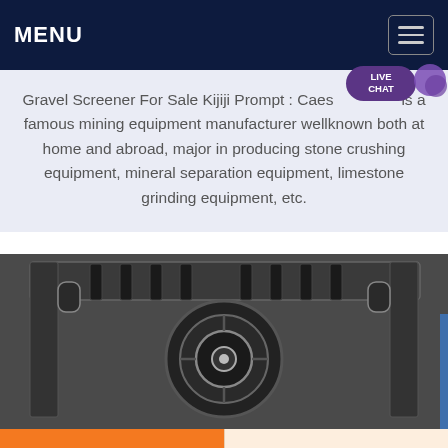MENU
Gravel Screener For Sale Kijiji Prompt : Caes is a famous mining equipment manufacturer wellknown both at home and abroad, major in producing stone crushing equipment, mineral separation equipment, limestone grinding equipment, etc.
[Figure (photo): Underside view of industrial machinery showing a large circular disc/wheel component with metal frame structure, viewed from below]
Get a Quote
WhatsApp